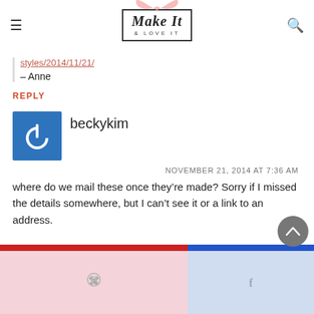Make It & LOVE IT
styles/2014/11/21/
– Anne
REPLY
[Figure (illustration): Blue square avatar with white power button icon]
beckykim
NOVEMBER 21, 2014 AT 7:36 AM
where do we mail these once they're made? Sorry if I missed the details somewhere, but I can't see it or a link to an address.
[Figure (illustration): Pinterest share icon on pink background and Facebook share icon on blue background at bottom of page]